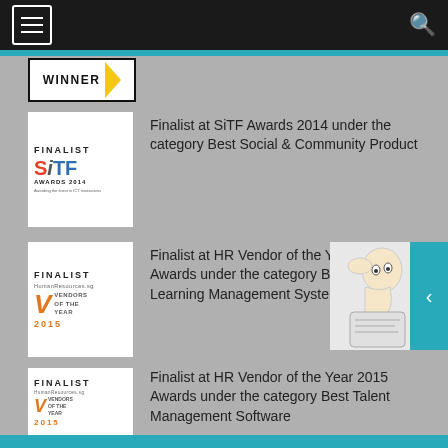[Figure (screenshot): Navigation bar with hamburger menu icon (left) and search icon (right) on dark background]
[Figure (logo): WINNER badge with yellow chevron]
[Figure (logo): FINALIST SiTF AWARDS 2014 badge]
Finalist at SiTF Awards 2014 under the category Best Social & Community Product
[Figure (logo): FINALIST HR Vendors of the Year 2015 badge]
Finalist at HR Vendor of the Year 2015 Awards under the category Best Learning Management System
[Figure (logo): FINALIST HR Vendors of the Year 2015 badge]
Finalist at HR Vendor of the Year 2015 Awards under the category Best Talent Management Software